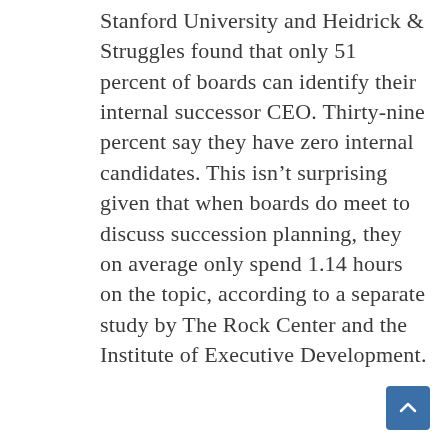Stanford University and Heidrick & Struggles found that only 51 percent of boards can identify their internal successor CEO. Thirty-nine percent say they have zero internal candidates. This isn’t surprising given that when boards do meet to discuss succession planning, they on average only spend 1.14 hours on the topic, according to a separate study by The Rock Center and the Institute of Executive Development.